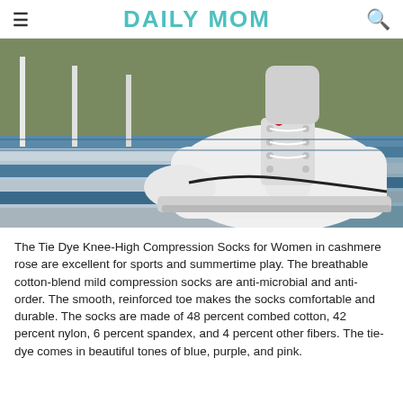DAILY MOM
[Figure (photo): Close-up of a white high-top sneaker/shoe on metal bleacher steps outdoors, with grass visible in the background.]
The Tie Dye Knee-High Compression Socks for Women in cashmere rose are excellent for sports and summertime play. The breathable cotton-blend mild compression socks are anti-microbial and anti-order. The smooth, reinforced toe makes the socks comfortable and durable. The socks are made of 48 percent combed cotton, 42 percent nylon, 6 percent spandex, and 4 percent other fibers. The tie-dye comes in beautiful tones of blue, purple, and pink.